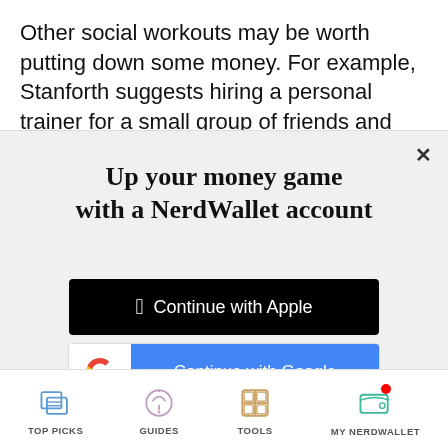Other social workouts may be worth putting down some money. For example, Stanforth suggests hiring a personal trainer for a small group of friends and
Up your money game with a NerdWallet account
[Figure (screenshot): Continue with Apple button — black background with Apple logo icon and white text]
[Figure (screenshot): Continue with Google button — white left panel with Google G logo, blue right panel with white text]
or continue with email
By signing up, I agree to NerdWallet's Terms of Service and Privacy Policy.
TOP PICKS   GUIDES   TOOLS   MY NERDWALLET